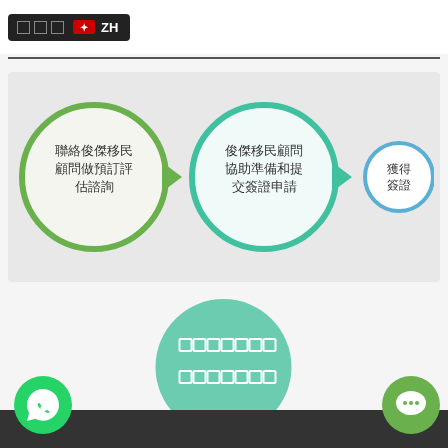ZH (language selector with garbled text)
[Figure (flowchart): Three-step process flowchart with circles and arrows: Step 1 (green circle): 聯絡俊傑移民顧問做預訂評估諮詢, Arrow pointing right, Step 2 (teal circle): 俊傑移民顧問協助準備和提交簽證申請, Arrow pointing right, Step 3 (blue circle): 獲得簽證]
[Figure (other): Green circle with garbled/pixel text in two lines]
WhatsApp icon and chat icon in footer